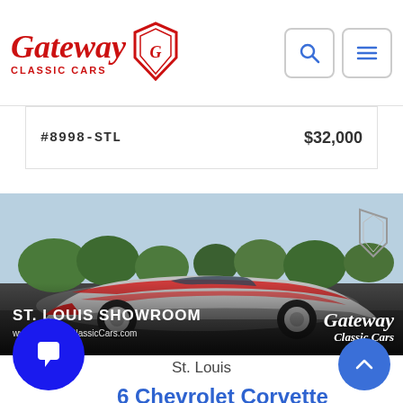Gateway Classic Cars — navigation header with search and menu icons
#8998-STL   $32,000
[Figure (photo): A Corvette C3 with American flag paint scheme (red, white, silver) parked in a lot with trees in background. Gateway Classic Cars St. Louis Showroom promotional image with www.GatewayClassicCars.com overlay.]
St. Louis
6 Chevrolet Corvette